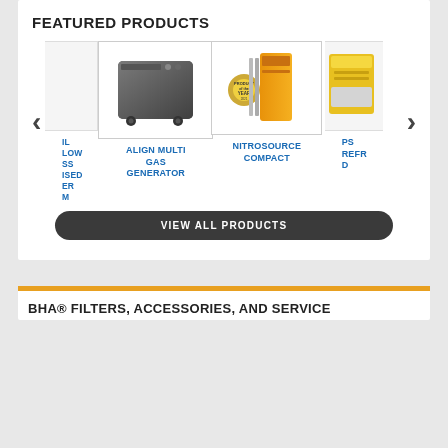FEATURED PRODUCTS
[Figure (screenshot): Product carousel showing: partially visible first product (IL LOW SS ISED ER M), ALIGN MULTI GAS GENERATOR (dark gray box unit on wheels), NITROSOURCE COMPACT (orange tall unit with Product of the Year badge), partially visible PS REFR D product (yellow/white unit). Left and right navigation arrows flank the carousel.]
IL LOW SS ISED ER M
ALIGN MULTI GAS GENERATOR
NITROSOURCE COMPACT
PS REFR D
VIEW ALL PRODUCTS
BHA® FILTERS, ACCESSORIES, AND SERVICE